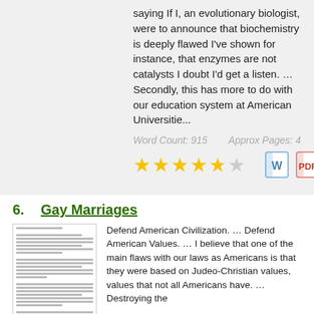saying  If I, an evolutionary biologist, were to announce that biochemistry is deeply flawed I've shown for instance, that enzymes are not catalysts I doubt I'd get a listen. … Secondly, this has more to do with our education system at American Universitie...
Word Count: 915     Approx Pages: 4
[Figure (other): 4.5 out of 5 stars rating, plus Word, PDF, and save icons]
6. Gay Marriages
[Figure (other): Thumbnail preview of the Gay Marriages essay document]
Defend American Civilization. … Defend American Values. … I believe that one of the main flaws with our laws as Americans is that they were based on Judeo-Christian values, values that not all Americans have. … Destroying the